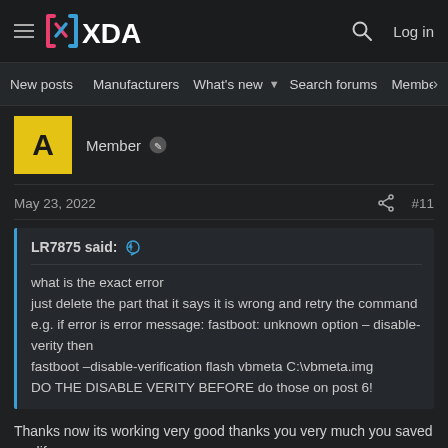XDA Developers — New posts | Manufacturers | What's new | Search forums | Members
[Figure (screenshot): User avatar: yellow square with letter A]
Member
May 23, 2022  #11
LR7875 said:
what is the exact error
just delete the part that it says it is wrong and retry the command
e.g. if error is error message: fastboot: unknown option – disable-verity then
fastboot –disable-verification flash vbmeta C:\vbmeta.img
DO THE DISABLE VERITY BEFORE do those on post 6!
Thanks now its working very good thanks you very much you saved my life